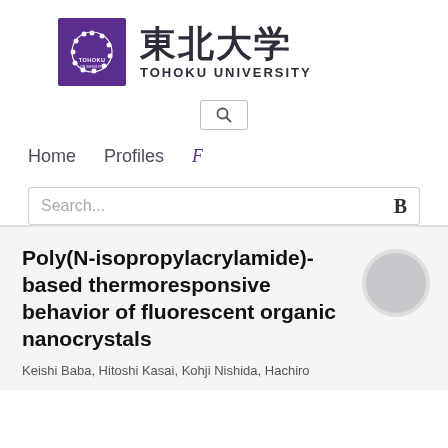[Figure (logo): Tohoku University logo: purple square with circular emblem made of white dots/spheres, with Japanese kanji 東北大学 and TOHOKU UNIVERSITY text]
[Figure (screenshot): Search icon (magnifying glass) in a small bordered box]
Home   Profiles   F
Search...   B
Poly(N-isopropylacrylamide)-based thermoresponsive behavior of fluorescent organic nanocrystals
Keishi Baba, Hitoshi Kasai, Kohji Nishida, Hachiro